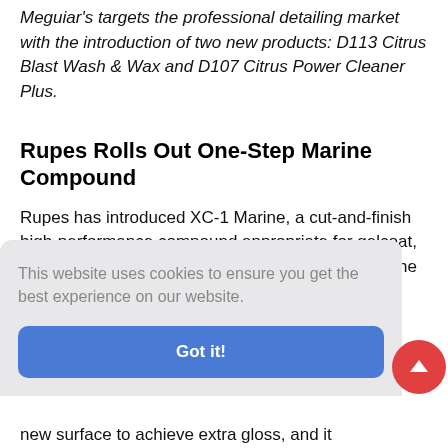Meguiar's targets the professional detailing market with the introduction of two new products: D113 Citrus Blast Wash & Wax and D107 Citrus Power Cleaner Plus.
Rupes Rolls Out One-Step Marine Compound
Rupes has introduced XC-1 Marine, a cut-and-finish high-performance compound appropriate for gelcoat, paint and composite surfaces commonly found in the marine environment. The silicone
This website uses cookies to ensure you get the best experience on our website.
Got it!
new surface to achieve extra gloss, and it